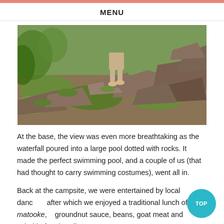MENU
[Figure (photo): A person standing on rocky terrain with green grass and large boulders, outdoors in a natural landscape.]
At the base, the view was even more breathtaking as the waterfall poured into a large pool dotted with rocks. It made the perfect swimming pool, and a couple of us (that had thought to carry swimming costumes), went all in.
Back at the campsite, we were entertained by local dancers, after which we enjoyed a traditional lunch of matooke, groundnut sauce, beans, goat meat and salad before heading off to Fort Patiko...